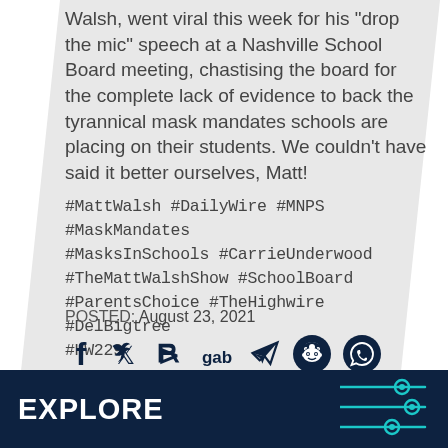Walsh, went viral this week for his 'drop the mic' speech at a Nashville School Board meeting, chastising the board for the complete lack of evidence to back the tyrannical mask mandates schools are placing on their students. We couldn't have said it better ourselves, Matt!
#MattWalsh #DailyWire #MNPS #MaskMandates #MasksInSchools #CarrieUnderwood #TheMattWalshShow #SchoolBoard #ParentsChoice #TheHighwire #DelBigtree #HW229
POSTED: August 23, 2021
[Figure (infographic): Social sharing icons: Facebook, Twitter, Parler, Gab, Telegram, Reddit, WhatsApp]
EXPLORE
[Figure (infographic): Sliders/filter icon in teal color on dark navy background]